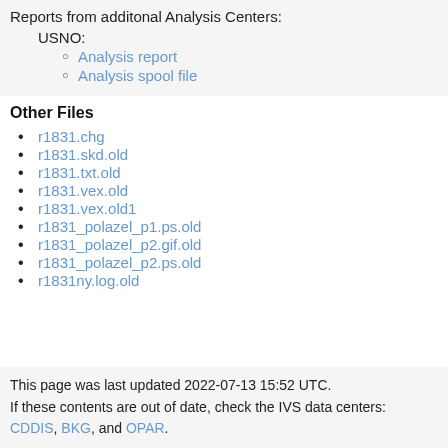Reports from additonal Analysis Centers:
USNO:
Analysis report
Analysis spool file
Other Files
r1831.chg
r1831.skd.old
r1831.txt.old
r1831.vex.old
r1831.vex.old1
r1831_polazel_p1.ps.old
r1831_polazel_p2.gif.old
r1831_polazel_p2.ps.old
r1831ny.log.old
This page was last updated 2022-07-13 15:52 UTC.
If these contents are out of date, check the IVS data centers:
CDDIS, BKG, and OPAR.